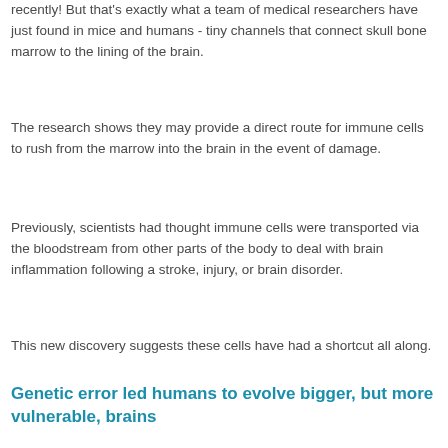recently! But that's exactly what a team of medical researchers have just found in mice and humans - tiny channels that connect skull bone marrow to the lining of the brain.
The research shows they may provide a direct route for immune cells to rush from the marrow into the brain in the event of damage.
Previously, scientists had thought immune cells were transported via the bloodstream from other parts of the body to deal with brain inflammation following a stroke, injury, or brain disorder.
This new discovery suggests these cells have had a shortcut all along.
Genetic error led humans to evolve bigger, but more vulnerable, brains
New brain discoveries suggest that humans experience...